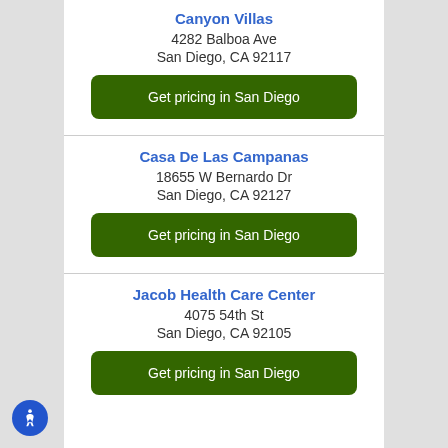Canyon Villas
4282 Balboa Ave
San Diego, CA 92117
Get pricing in San Diego
Casa De Las Campanas
18655 W Bernardo Dr
San Diego, CA 92127
Get pricing in San Diego
Jacob Health Care Center
4075 54th St
San Diego, CA 92105
Get pricing in San Diego